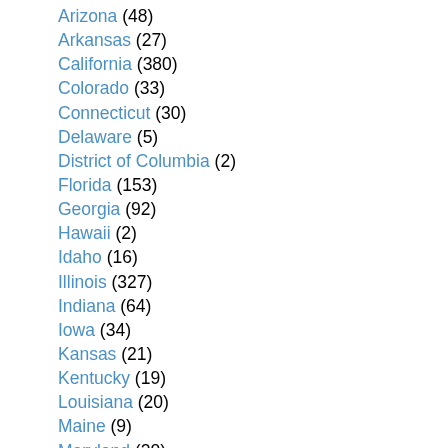Arizona (48)
Arkansas (27)
California (380)
Colorado (33)
Connecticut (30)
Delaware (5)
District of Columbia (2)
Florida (153)
Georgia (92)
Hawaii (2)
Idaho (16)
Illinois (327)
Indiana (64)
Iowa (34)
Kansas (21)
Kentucky (19)
Louisiana (20)
Maine (9)
Maryland (20)
Massachusetts (58)
Michigan (121)
Minnesota (91)